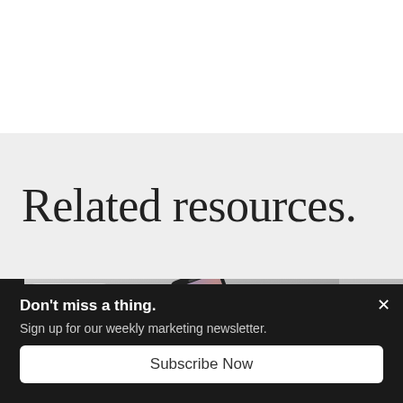Related resources.
[Figure (photo): A smartphone lying on a light surface, showing a social media or marketing app screen. Partial view of the device with a dark frame and colorful screen content.]
Don't miss a thing.
Sign up for our weekly marketing newsletter.
Subscribe Now